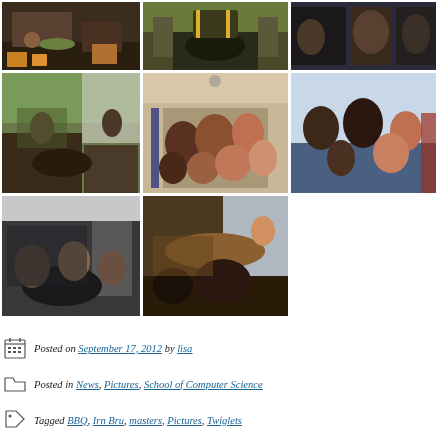[Figure (photo): Grid of 8 photos from a BBQ/social event at the School of Computer Science. Row 1: cooking food outdoors, person grilling with yellow gloves, people in formal/pirate costumes. Row 2: outdoor seating area with students, group of students inside around tables, people chatting in a room. Row 3: group of people standing inside, people seated at tables near window.]
Posted on September 17, 2012 by lisa
Posted in News, Pictures, School of Computer Science
Tagged BBQ, Irn Bru, masters, Pictures, Twiglets